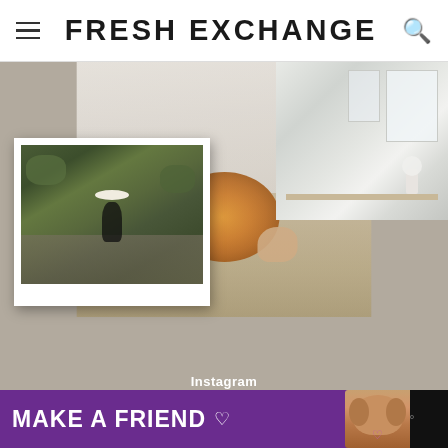FRESH EXCHANGE
[Figure (photo): Collage of three lifestyle photos: a woman in a white shirt holding an orange pumpkin (center), a woman in a garden with a wide-brim hat (left, polaroid-framed), and a bright modern living room interior (top right), all on a taupe/beige background.]
Instagram
Experience the seasons of life together...
[Figure (infographic): Advertisement banner: dark background with purple section reading MAKE A FRIEND in white bold text, with a heart symbol, a dog photo, an x close button, and icons on the right.]